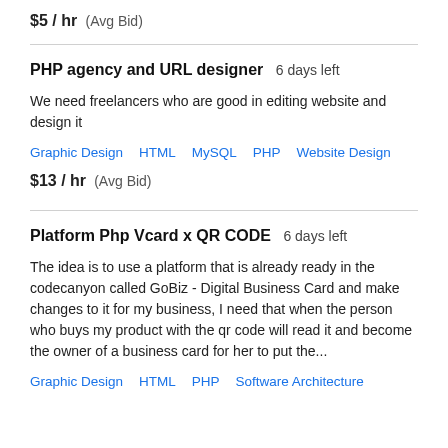$5 / hr  (Avg Bid)
PHP agency and URL designer  6 days left
We need freelancers who are good in editing website and design it
Graphic Design  HTML  MySQL  PHP  Website Design
$13 / hr  (Avg Bid)
Platform Php Vcard x QR CODE  6 days left
The idea is to use a platform that is already ready in the codecanyon called GoBiz - Digital Business Card and make changes to it for my business, I need that when the person who buys my product with the qr code will read it and become the owner of a business card for her to put the...
Graphic Design  HTML  PHP  Software Architecture